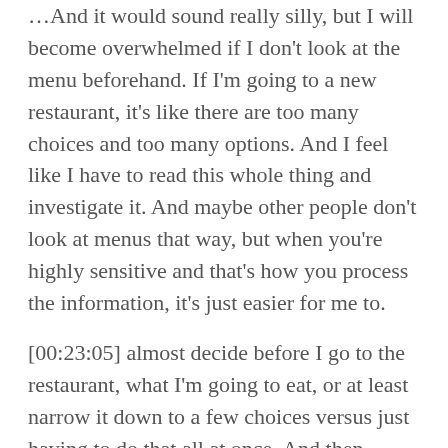[00:22:47] And it sounds really silly, but I will become overwhelmed if I don't look at the menu beforehand. If I'm going to a new restaurant, it's like there are too many choices and too many options. And I feel like I have to read this whole thing and investigate it. And maybe other people don't look at menus that way, but when you're highly sensitive and that's how you process the information, it's just easier for me to.
[00:23:05] almost decide before I go to the restaurant, what I'm going to eat, or at least narrow it down to a few choices versus just having to do that all at once. And then usually people are trying to communicate with you as well like "Oh, Hey, how are you doing?" It's like, okay, I can't talk and read and think and everything all at the same time.
[00:23:25] I've found it helpful at parties. I think I read this in a book a long time ago. I had read a book as part of my process called the Introvert Advantage. I don't remember if that's still a book that they have all